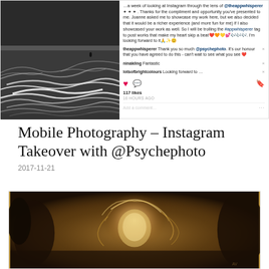[Figure (screenshot): Instagram post screenshot showing a black-and-white ocean/wave photo on the left and post details (caption, comments, likes: 117, time: 16 hours ago) on the right]
Mobile Photography – Instagram Takeover with @Psychephoto
2017-11-21
[Figure (photo): Sepia-toned artistic portrait photo of a person with flowing hair, dark atmospheric background with golden/warm tones]